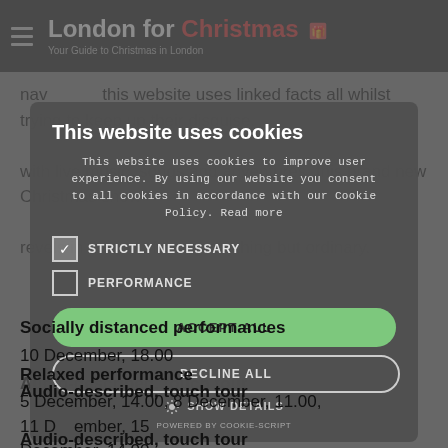London for Christmas 🎁 — Your Guide to Christmas in London
nav... this website uses linked facts... all whilst trying to keep up their disguise. with live music, songs and adventures, this brand new Christmas show revels in the joy of being anything but ordinary.
This website uses cookies
This website uses cookies to improve user experience. By using our website you consent to all cookies in accordance with our Cookie Policy. Read more
☑ STRICTLY NECESSARY
☐ PERFORMANCE
ACCEPT ALL
DECLINE ALL
SHOW DETAILS
POWERED BY COOKIE-SCRIPT
Socially distanced performances
10 December, 18.00
Relaxed performance
5 December, 14.00, 8 December, 11.00, 11 December, 15 December, 14.00
Audio-described, touch tour